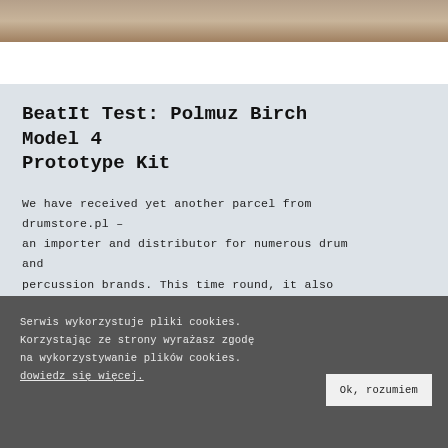[Figure (photo): Top portion of a drum kit photo, cropped, showing part of drum hardware on a wooden floor background]
BeatIt Test: Polmuz Birch Model 4 Prototype Kit
We have received yet another parcel from drumstore.pl – an importer and distributor for numerous drum and percussion brands. This time round, it also contains a drum kit from the freshly rejuvenated Polmuz brand, which premiered in late 2019....
[Figure (photo): Bottom portion of another drum kit photo, showing green/teal drum shells with cymbal stands, partially cropped]
Serwis wykorzystuje pliki cookies. Korzystając ze strony wyrażasz zgodę na wykorzystywanie plików cookies. dowiedz się więcej.